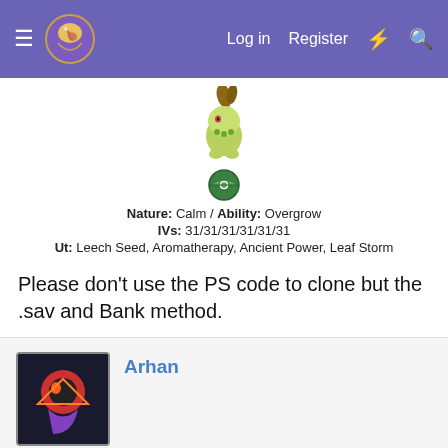Log in  Register
[Figure (illustration): Pixel art sprite of Chikorita (green leaf Pokemon) and a Dusk Ball below it]
Nature: Calm / Ability: Overgrow
IVs: 31/31/31/31/31/31
Ut: Leech Seed, Aromatherapy, Ancient Power, Leaf Storm
Please don't use the PS code to clone but the .sav and Bank method.
Arhan
Jan 6, 2015
#73
Liger Zero said: